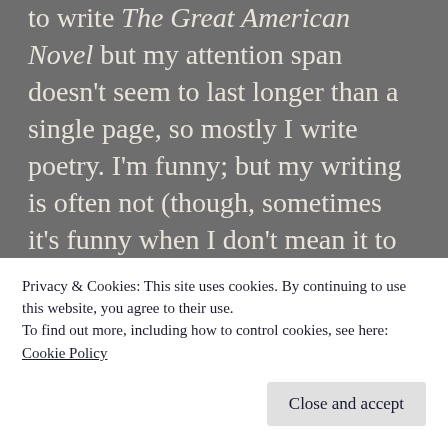to write The Great American Novel but my attention span doesn't seem to last longer than a single page, so mostly I write poetry.  I'm funny; but my writing is often not (though, sometimes it's funny when I don't mean it to be, but I digress).  I adore language and word-play, though the only languages I know are English, Sarcasm and a smattering of Double-Speak.   I have a thing for the words of others too, so I will occasionally post quotes that strike my fancy.
Privacy & Cookies: This site uses cookies. By continuing to use this website, you agree to their use.
To find out more, including how to control cookies, see here:
Cookie Policy